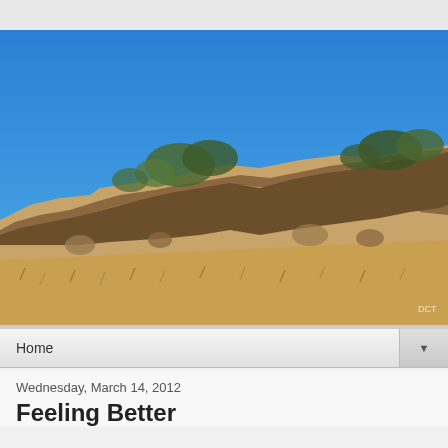[Figure (photo): Outdoor desert landscape photo showing a rocky hillside with dry scrubby brush and a clear deep blue sky. Sandy tan colored rocks and boulders make up the hill, with sparse green shrubs along the ridgeline. Dry golden grasses cover the foreground slope. Small watermark text 'DCT' visible in lower right corner.]
Home ▼
Wednesday, March 14, 2012
Feeling Better